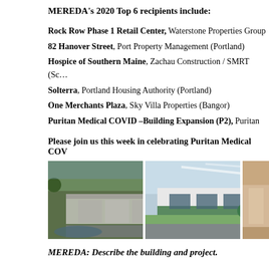MEREDA's 2020 Top 6 recipients include:
Rock Row Phase 1 Retail Center, Waterstone Properties Group
82 Hanover Street, Port Property Management (Portland)
Hospice of Southern Maine, Zachau Construction / SMRT (Sc…)
Solterra, Portland Housing Authority (Portland)
One Merchants Plaza, Sky Villa Properties (Bangor)
Puritan Medical COVID –Building Expansion (P2), Puritan…
Please join us this week in celebrating Puritan Medical COV…
[Figure (photo): Aerial view of Rock Row Phase 1 Retail Center showing a large commercial complex with parking lot and water nearby, surrounded by autumn trees.]
[Figure (photo): Exterior view of a modern industrial or medical building with white and green facade, large windows, and a paved driveway with grass lawn.]
[Figure (photo): Partial view of a building interior or exterior, cropped at right edge.]
MEREDA:  Describe the building and project.